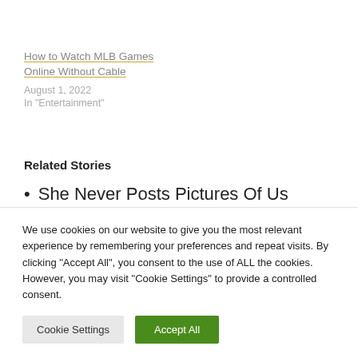How to Watch MLB Games Online Without Cable
August 1, 2022
In "Entertainment"
Related Stories
She Never Posts Pictures Of Us
69 Bone Runs
We use cookies on our website to give you the most relevant experience by remembering your preferences and repeat visits. By clicking "Accept All", you consent to the use of ALL the cookies. However, you may visit "Cookie Settings" to provide a controlled consent.